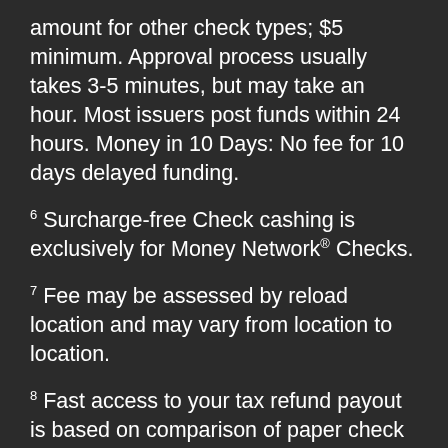amount for other check types; $5 minimum. Approval process usually takes 3-5 minutes, but may take an hour. Most issuers post funds within 24 hours. Money in 10 Days: No fee for 10 days delayed funding.
6 Surcharge-free Check cashing is exclusively for Money Network® Checks.
7 Fee may be assessed by reload location and may vary from location to location.
8 Fast access to your tax refund payout is based on comparison of paper check versus electronic direct deposit. Источник: https://www.moneynetwork.com/
Prepaid Debit Card Fees
You may have to pay fees when using your U.S. Bank ReliaCard, which are deducted from your benefit